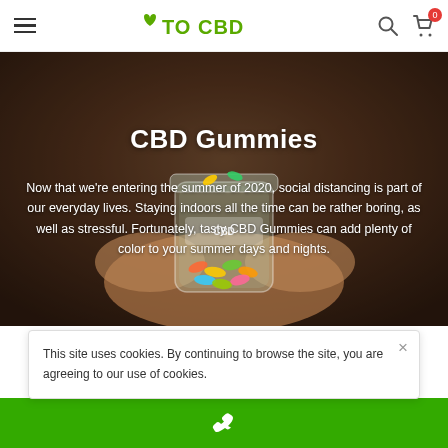TO CBD - Navigation header with hamburger menu, logo, search icon, and cart icon (badge: 0)
CBD Gummies
Now that we're entering the summer of 2020, social distancing is part of our everyday lives. Staying indoors all the time can be rather boring, as well as stressful. Fortunately, tasty CBD Gummies can add plenty of color to your summer days and nights.
[Figure (photo): A person holding a jar of colorful CBD gummy worms/candies against a blurred brown background]
This site uses cookies. By continuing to browse the site, you are agreeing to our use of cookies.
Green bar with phone icon